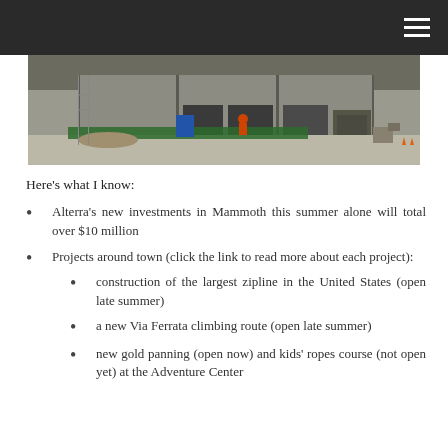[Figure (photo): Construction site photo showing a concrete building exterior with workers, construction equipment, green fencing, scaffolding, and debris on the ground.]
Here's what I know:
Alterra's new investments in Mammoth this summer alone will total over $10 million
Projects around town (click the link to read more about each project):
construction of the largest zipline in the United States (open late summer)
a new Via Ferrata climbing route (open late summer)
new gold panning (open now) and kids' ropes course (not open yet) at the Adventure Center